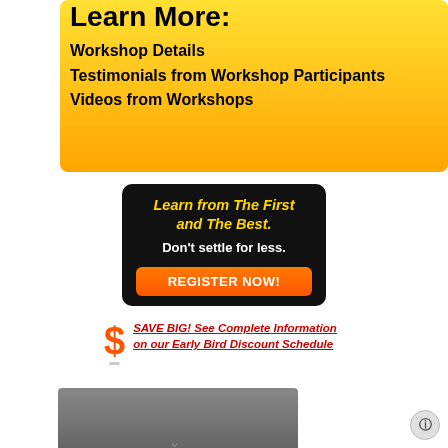Learn More:
Workshop Details
Testimonials from Workshop Participants
Videos from Workshops
[Figure (infographic): Black promo box with yellow italic bold text 'Learn from The First and The Best.' and white bold text 'Don't settle for less.' with an orange REGISTER NOW! button]
SAVE BIG! See Complete Information on our Early Bird Discount Schedule